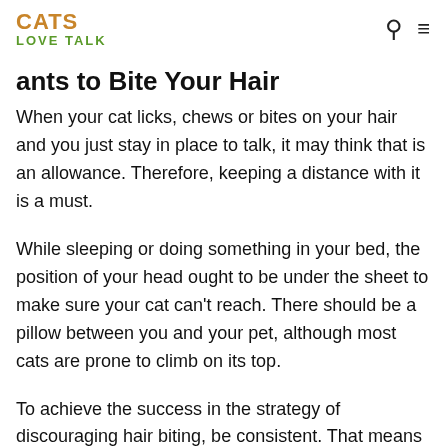CATS LOVE TALK
…ants to Bite Your Hair
When your cat licks, chews or bites on your hair and you just stay in place to talk, it may think that is an allowance. Therefore, keeping a distance with it is a must.
While sleeping or doing something in your bed, the position of your head ought to be under the sheet to make sure your cat can't reach. There should be a pillow between you and your pet, although most cats are prone to climb on its top.
To achieve the success in the strategy of discouraging hair biting, be consistent. That means every your action of resisting your hair biting must be in no time. On the contrary, if you give it the inconsistent responses, it just…